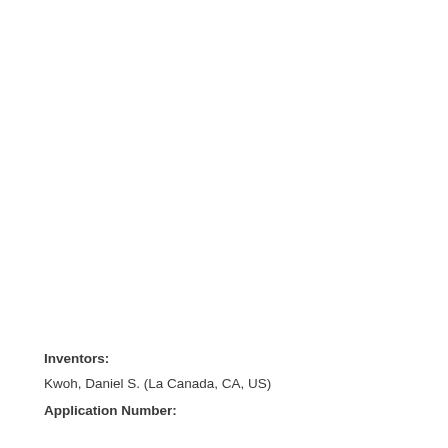Inventors:
Kwoh, Daniel S. (La Canada, CA, US)
Application Number: